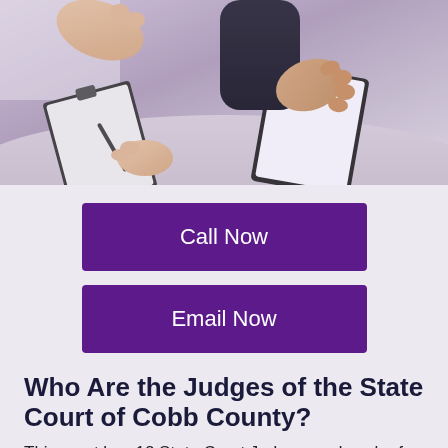[Figure (photo): Two people at a desk in a meeting or consultation; one person gesturing with hands open, a clipboard and tablet visible on the desk, blurred background]
Call Now
Email Now
Who Are the Judges of the State Court of Cobb County?
This court has 12 State Court Judges, and each of them has two assistant solicitors assigned. All 12 courtrooms